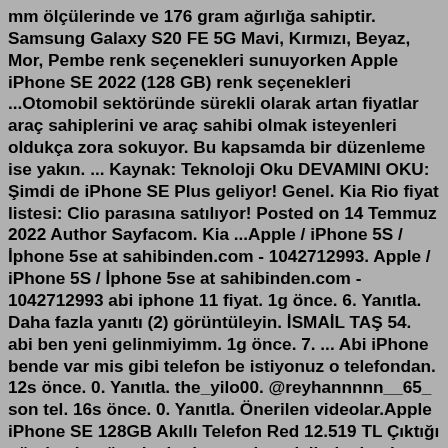mm ölçülerinde ve 176 gram ağırlığa sahiptir. Samsung Galaxy S20 FE 5G Mavi, Kırmızı, Beyaz, Mor, Pembe renk seçenekleri sunuyorken Apple iPhone SE 2022 (128 GB) renk seçenekleri ...Otomobil sektöründe sürekli olarak artan fiyatlar araç sahiplerini ve araç sahibi olmak isteyenleri oldukça zora sokuyor. Bu kapsamda bir düzenleme ise yakın. ... Kaynak: Teknoloji Oku DEVAMINI OKU: Şimdi de iPhone SE Plus geliyor! Genel. Kia Rio fiyat listesi: Clio parasına satılıyor! Posted on 14 Temmuz 2022 Author Sayfacom. Kia ...Apple / iPhone 5S / İphone 5se at sahibinden.com - 1042712993. Apple / iPhone 5S / İphone 5se at sahibinden.com - 1042712993 abi iphone 11 fiyat. 1g önce. 6. Yanıtla. Daha fazla yanıtı (2) görüntüleyin. İSMAİL TAŞ 54. abi ben yeni gelinmiyimm. 1g önce. 7. ... Abi iPhone bende var mis gibi telefon be istiyonuz o telefondan. 12s önce. 0. Yanıtla. the_yilo00. @reyhannnnn__65_ son tel. 16s önce. 0. Yanıtla. Önerilen videolar.Apple iPhone SE 128GB Akıllı Telefon Red 12.519 TL Çıktığı günden bugüne kadar her yeni modelinde devrim niteliğinde